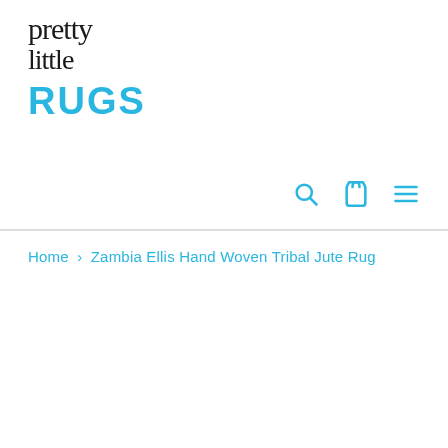[Figure (logo): Pretty Little Rugs logo — handwritten script text 'pretty little' in black above bold cyan/blue 'RUGS' text]
[Figure (other): Navigation icons: search (magnifying glass), cart (shopping bag), and hamburger menu in cyan/blue]
Home › Zambia Ellis Hand Woven Tribal Jute Rug